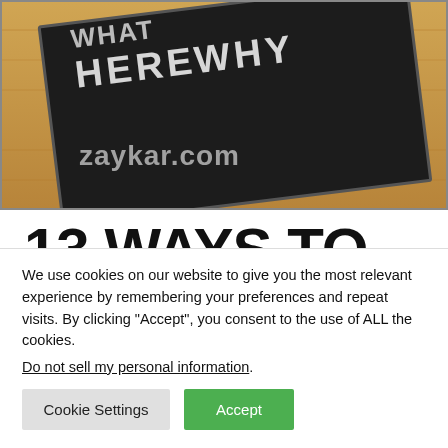[Figure (photo): Photo of a chalkboard with chalk writing including words like 'WHERE' and 'WHY', with a wood background. Watermark text 'zaykar.com' overlaid on the image.]
13 WAYS TO CORRECT YOUR
We use cookies on our website to give you the most relevant experience by remembering your preferences and repeat visits. By clicking “Accept”, you consent to the use of ALL the cookies.
Do not sell my personal information.